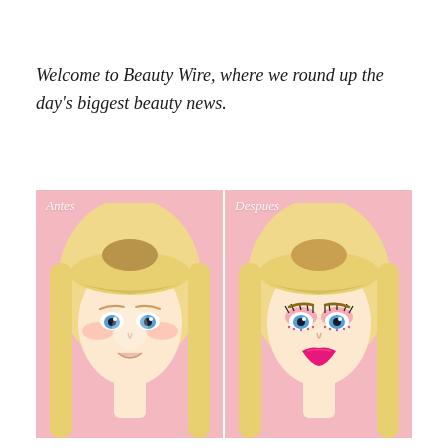Welcome to Beauty Wire, where we round up the day's biggest beauty news.
[Figure (illustration): Side-by-side before and after comparison of a Barbie doll face. Left panel labeled 'Antes' (before) shows Barbie without makeup—minimal features, subtle pink blush, blue eyes, light smile. Right panel labeled 'Despues' (after) shows Barbie with full makeup—dramatic pink eye shadow, heavy pink lashes, bright pink lipstick, both on a pink background.]